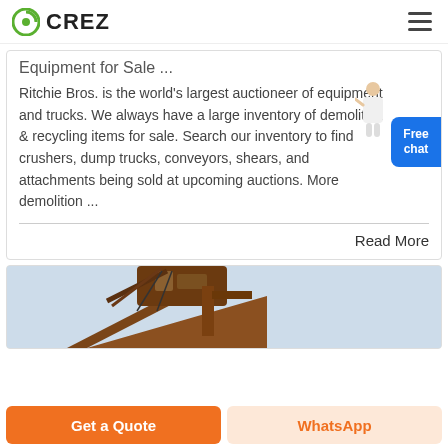CREZ
Equipment for Sale ...
Ritchie Bros. is the world's largest auctioneer of equipment and trucks. We always have a large inventory of demolition & recycling items for sale. Search our inventory to find crushers, dump trucks, conveyors, shears, and attachments being sold at upcoming auctions. More demolition ...
Read More
[Figure (photo): Industrial crane or conveyor structure photographed against a light blue sky]
Get a Quote
WhatsApp